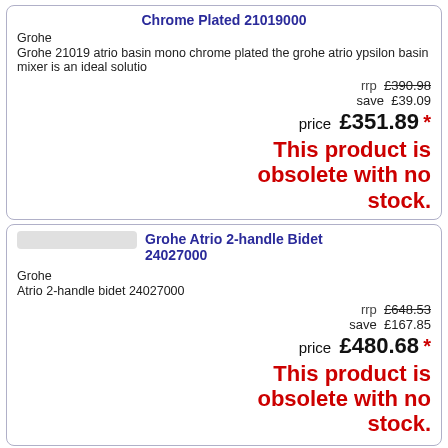Chrome Plated 21019000
Grohe
Grohe 21019 atrio basin mono chrome plated the grohe atrio ypsilon basin mixer is an ideal solutio
rrp £390.98
save £39.09
price £351.89 *
This product is obsolete with no stock.
Grohe Atrio 2-handle Bidet 24027000
Grohe
Atrio 2-handle bidet 24027000
rrp £648.53
save £167.85
price £480.68 *
This product is obsolete with no stock.